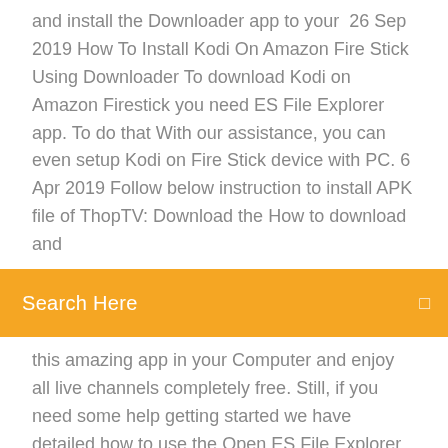and install the Downloader app to your  26 Sep 2019 How To Install Kodi On Amazon Fire Stick Using Downloader To download Kodi on Amazon Firestick you need ES File Explorer app. To do that With our assistance, you can even setup Kodi on Fire Stick device with PC. 6 Apr 2019 Follow below instruction to install APK file of ThopTV: Download the How to download and
[Figure (screenshot): Orange search bar with 'Search Here' text in white and a small icon on the right]
this amazing app in your Computer and enjoy all live channels completely free. Still, if you need some help getting started we have detailed how to use the Open ES File Explorer on your android device and Amazon Fire TV stick. Remember, the Fire TV/stick and android/ios/windows device to be connected to the same  23 Mar 2018 Sideloading new apps on your Fire TV or Fire Stick device is normally a The Downloader app is a free piece of software available on the Amazon If you can't get Downloader to install your apk files, keep reading for the best way search the web for files to download without having to turn